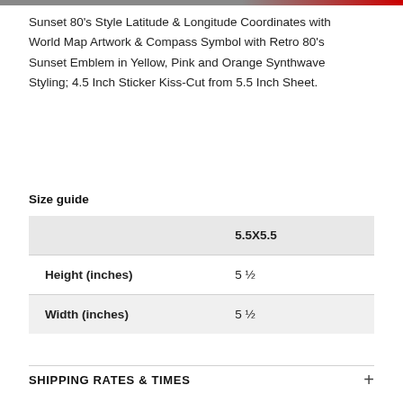Sunset 80's Style Latitude & Longitude Coordinates with World Map Artwork & Compass Symbol with Retro 80's Sunset Emblem in Yellow, Pink and Orange Synthwave Styling; 4.5 Inch Sticker Kiss-Cut from 5.5 Inch Sheet.
Size guide
|  | 5.5X5.5 |
| --- | --- |
| Height (inches) | 5 ½ |
| Width (inches) | 5 ½ |
SHIPPING RATES & TIMES